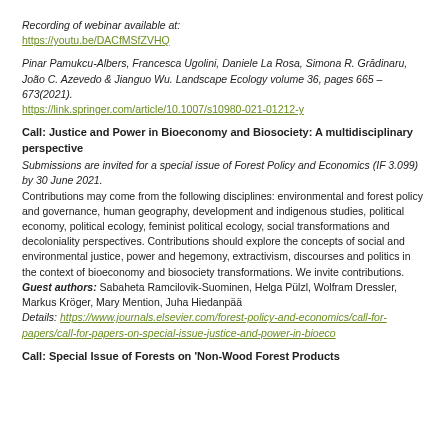Recording of webinar available at:
https://youtu.be/DACfMSfZVHQ
Pinar Pamukcu-Albers, Francesca Ugolini, Daniele La Rosa, Simona R. Grādinaru, João C. Azevedo & Jianguo Wu. Landscape Ecology volume 36, pages 665 –673(2021).
https://link.springer.com/article/10.1007/s10980-021-01212-y
Call: Justice and Power in Bioeconomy and Biosociety: A multidisciplinary perspective
Submissions are invited for a special issue of Forest Policy and Economics (IF 3.099) by 30 June 2021.
Contributions may come from the following disciplines: environmental and forest policy and governance, human geography, development and indigenous studies, political economy, political ecology, feminist political ecology, social transformations and decoloniality perspectives. Contributions should explore the concepts of social and environmental justice, power and hegemony, extractivism, discourses and politics in the context of bioeconomy and biosociety transformations. We invite contributions.
Guest authors: Sabaheta Ramcilovik-Suominen, Helga Pülzl, Wolfram Dressler, Markus Kröger, Mary Mention, Juha Hiedanpää
Details: https://www.journals.elsevier.com/forest-policy-and-economics/call-for-papers/call-for-papers-on-special-issue-justice-and-power-in-bioeco
Call: Special Issue of Forests on 'Non-Wood Forest Products